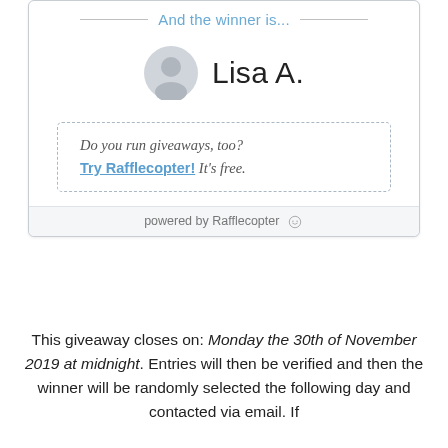And the winner is...
Lisa A.
Do you run giveaways, too? Try Rafflecopter! It's free.
powered by Rafflecopter
This giveaway closes on: Monday the 30th of November 2019 at midnight. Entries will then be verified and then the winner will be randomly selected the following day and contacted via email. If